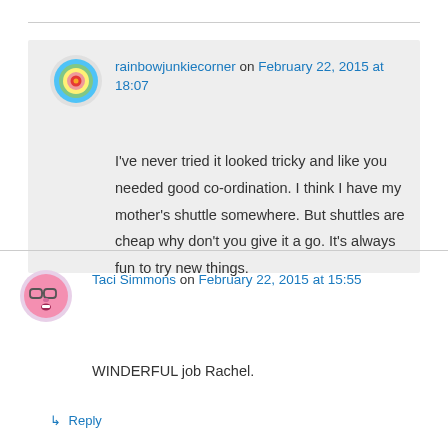rainbowjunkiecorner on February 22, 2015 at 18:07
I've never tried it looked tricky and like you needed good co-ordination. I think I have my mother's shuttle somewhere. But shuttles are cheap why don't you give it a go. It's always fun to try new things.
↳ Reply
Taci Simmons on February 22, 2015 at 15:55
WINDERFUL job Rachel.